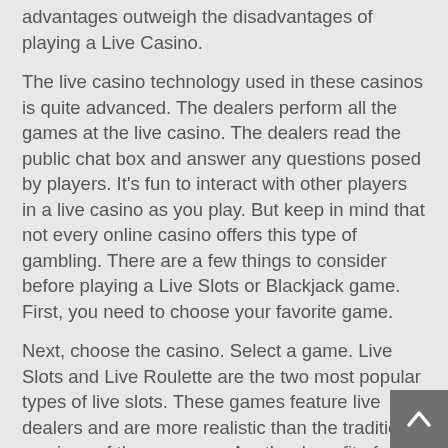advantages outweigh the disadvantages of playing a Live Casino.
The live casino technology used in these casinos is quite advanced. The dealers perform all the games at the live casino. The dealers read the public chat box and answer any questions posed by players. It's fun to interact with other players in a live casino as you play. But keep in mind that not every online casino offers this type of gambling. There are a few things to consider before playing a Live Slots or Blackjack game. First, you need to choose your favorite game.
Next, choose the casino. Select a game. Live Slots and Live Roulette are the two most popular types of live slots. These games feature live dealers and are more realistic than the traditional versions of these games. Another benefit of a Live Slots or a Video Poker game is that you can interact with other players. Depending on the game you play, you can wear whatever you like and still have a great time! For the most exciting and realistic experience, try playing a Live Slots or Live Roulette game today.